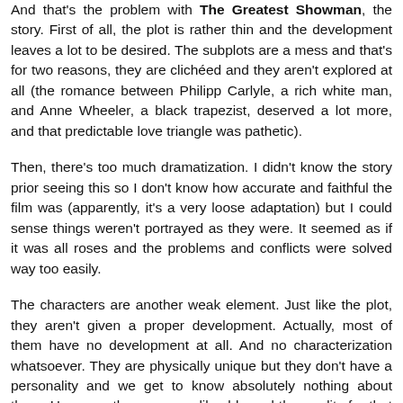And that's the problem with The Greatest Showman, the story. First of all, the plot is rather thin and the development leaves a lot to be desired. The subplots are a mess and that's for two reasons, they are clichéed and they aren't explored at all (the romance between Philipp Carlyle, a rich white man, and Anne Wheeler, a black trapezist, deserved a lot more, and that predictable love triangle was pathetic).
Then, there's too much dramatization. I didn't know the story prior seeing this so I don't know how accurate and faithful the film was (apparently, it's a very loose adaptation) but I could sense things weren't portrayed as they were. It seemed as if it was all roses and the problems and conflicts were solved way too easily.
The characters are another weak element. Just like the plot, they aren't given a proper development. Actually, most of them have no development at all. And no characterization whatsoever. They are physically unique but they don't have a personality and we get to know absolutely nothing about them. However, they are very likeable and the credits for that entirely go to the cast who does wonders as most give